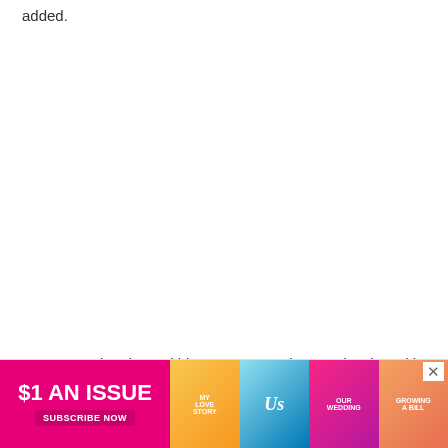added.
Kourtney, who shares kids Mason, Penelope and Reign with ex Scott Disick, and Travis, who shares teenagers Alabama and Landon with ex-wife Shanna Moakler,
[Figure (infographic): Advertisement banner for US magazine subscription: '$1 AN ISSUE' with 'SUBSCRIBE NOW' button in pink/magenta, with magazine cover thumbnails on the right and an X close button.]